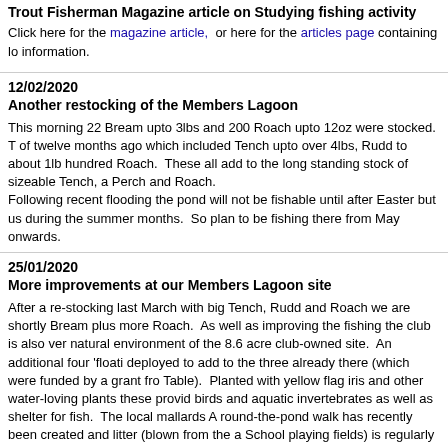Trout Fisherman Magazine article on Studying fishing activity
Click here for the magazine article, or here for the articles page containing lo information.
12/02/2020
Another restocking of the Members Lagoon
This morning 22 Bream upto 3lbs and 200 Roach upto 12oz were stocked. T of twelve months ago which included Tench upto over 4lbs, Rudd to about 1lb hundred Roach. These all add to the long standing stock of sizeable Tench, a Perch and Roach.
Following recent flooding the pond will not be fishable until after Easter but us during the summer months. So plan to be fishing there from May onwards.
25/01/2020
More improvements at our Members Lagoon site
After a re-stocking last March with big Tench, Rudd and Roach we are shortly Bream plus more Roach. As well as improving the fishing the club is also ver natural environment of the 8.6 acre club-owned site. An additional four 'floati deployed to add to the three already there (which were funded by a grant fro Table). Planted with yellow flag iris and other water-loving plants these provid birds and aquatic invertebrates as well as shelter for fish. The local mallards A round-the-pond walk has recently been created and litter (blown from the a School playing fields) is regularly cleared. It is planned to add further enhanc 2020 such as bird nesting boxes and more waterside plants such as reed ma removed in order to enable more sunlight to reach the lake bed and to create Ten volunteers turned up at our working party on 25th January and, as well as was had by all. Contact the club secretary Dave Martin (via the website) if yo future working parties.
25/09/2019
Big Brownie from the river